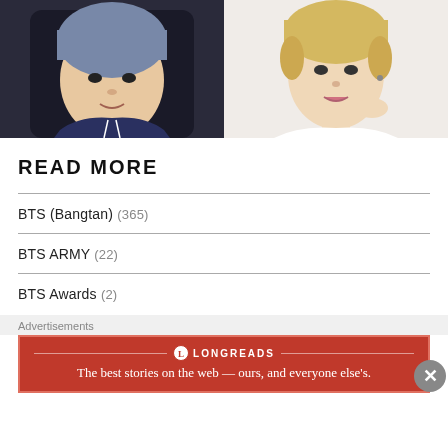[Figure (photo): Two side-by-side photos: left shows a young Asian man with blue-gray hair wearing a dark navy hoodie; right shows a young Asian man with blonde hair wearing a white top against a white background.]
READ MORE
BTS (Bangtan) (365)
BTS ARMY (22)
BTS Awards (2)
Advertisements
[Figure (other): Longreads advertisement banner in red. Says: The best stories on the web — ours, and everyone else's.]